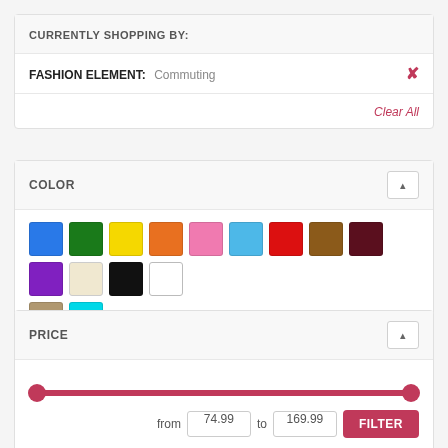CURRENTLY SHOPPING BY:
FASHION ELEMENT: Commuting
Clear All
COLOR
[Figure (other): Color swatches: blue, green, yellow, orange, pink, light blue, red, brown, dark red/maroon, purple, beige/cream, black, white, tan/khaki, cyan]
PRICE
[Figure (other): Price range slider from 74.99 to 169.99 with pink/crimson track and circular handles]
from 74.99 to 169.99
FILTER